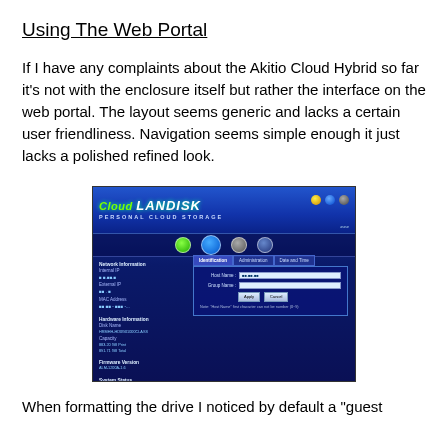Using The Web Portal
If I have any complaints about the Akitio Cloud Hybrid so far it's not with the enclosure itself but rather the interface on the web portal. The layout seems generic and lacks a certain user friendliness. Navigation seems simple enough it just lacks a polished refined look.
[Figure (screenshot): Screenshot of the Cloud LAN DISK web portal administration interface showing network information panel on the left and Identification/Administration/Date and Time tabs with Host Name and Group Name fields on the right.]
When formatting the drive I noticed by default a "guest